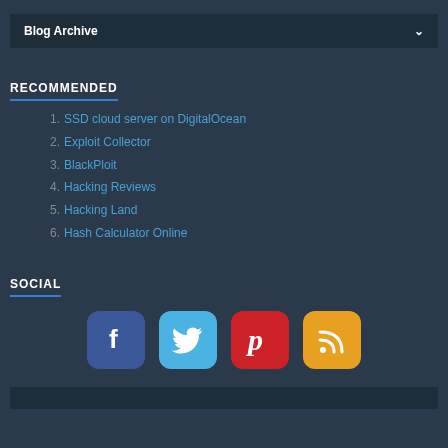Blog Archive
RECOMMENDED
1. SSD cloud server on DigitalOcean
2. Exploit Collector
3. BlackPloit
4. Hacking Reviews
5. Hacking Land
6. Hash Calculator Online
SOCIAL
[Figure (infographic): Four social media icons: Facebook (blue), Twitter (light blue), Pinterest (red), RSS (orange)]